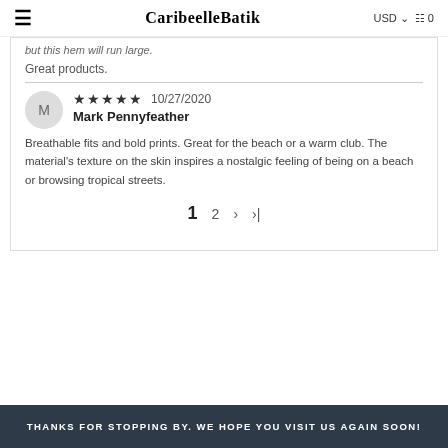CaribeelleBatik | USD | Cart 0
but this hem will run large.
Great products.
★★★★★ 10/27/2020
Mark Pennyfeather
Breathable fits and bold prints. Great for the beach or a warm club. The material's texture on the skin inspires a nostalgic feeling of being on a beach or browsing tropical streets.
1  2  ›  »
THANKS FOR STOPPING BY. WE HOPE YOU VISIT US AGAIN SOON!